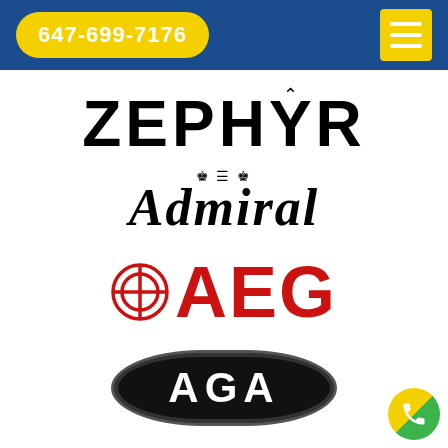647-699-7176
[Figure (logo): ZEPHYR brand logo in bold black uppercase letters]
[Figure (logo): Admiral brand logo in bold italic serif font with a small crown symbol above]
[Figure (logo): AEG brand logo in red with Electrolux circle icon on the left]
[Figure (logo): AGA brand logo in white letters on a black oval/badge shape]